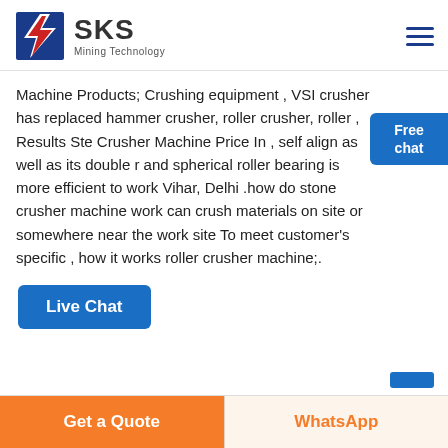[Figure (logo): SKS Mining Technology logo with lightning bolt graphic in red and blue, brand name SKS in bold gray, tagline Mining Technology]
Machine Products; Crushing equipment , VSI crusher has replaced hammer crusher, roller crusher, roller , Results Ste Crusher Machine Price In , self align as well as its double r and spherical roller bearing is more efficient to work Vihar, Delhi .how do stone crusher machine work can crush materials on site or somewhere near the work site To meet customer’s specific , how it works roller crusher machine;.
[Figure (other): Free chat badge in blue with person image overlay]
Live Chat
Get a Quote
WhatsApp